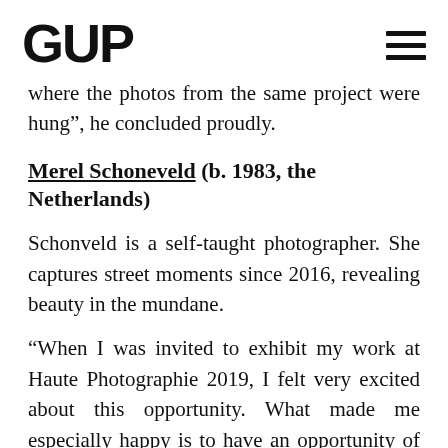GUP
where the photos from the same project were hung”, he concluded proudly.
Merel Schoneveld (b. 1983, the Netherlands)
Schonveld is a self-taught photographer. She captures street moments since 2016, revealing beauty in the mundane.
“When I was invited to exhibit my work at Haute Photographie 2019, I felt very excited about this opportunity. What made me especially happy is to have an opportunity of receiving instant feedback of the viewers